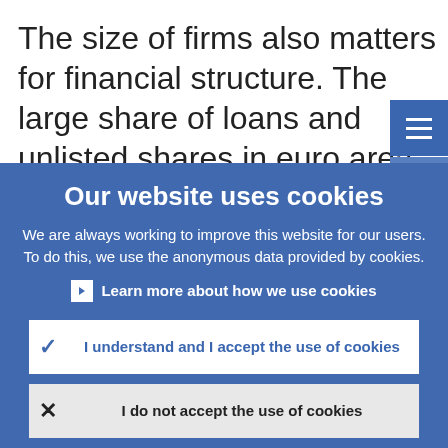The size of firms also matters for financial structure. The large share of loans and unlisted shares in euro area NFCs' external financing sources (see Chart 4) partly reflects the larger share of small and
Our website uses cookies
We are always working to improve this website for our users. To do this, we use the anonymous data provided by cookies.
Learn more about how we use cookies
I understand and I accept the use of cookies
I do not accept the use of cookies